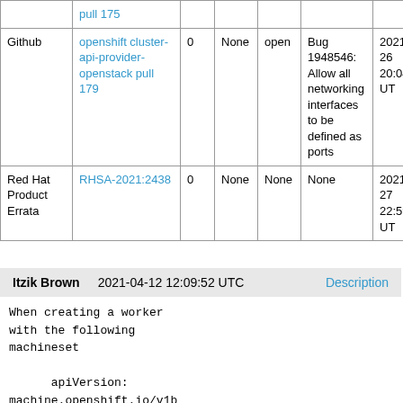|  |  |  |  |  |  |  |
| --- | --- | --- | --- | --- | --- | --- |
| Github | openshift cluster-api-provider-openstack pull 179 | 0 | None | open | Bug 1948546: Allow all networking interfaces to be defined as ports | 2021-04-26 20:04:31 UT |
| Red Hat Product Errata | RHSA-2021:2438 | 0 | None | None | None | 2021-07-27 22:59:46 UT |
Itzik Brown   2021-04-12 12:09:52 UTC   Description
When creating a worker
with the following
machineset

      apiVersion:
machine.openshift.io/v1b
eta1
     kind: MachineSet
     metadata:
         annotations: